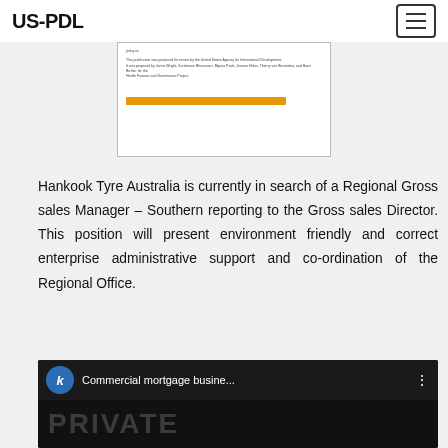US-PDL
[Figure (screenshot): Partial view of a document page showing small text about publication attribution and an orange horizontal bar at the bottom]
Hankook Tyre Australia is currently in search of a Regional Gross sales Manager – Southern reporting to the Gross sales Director. This position will present environment friendly and correct enterprise administrative support and co-ordination of the Regional Office.
[Figure (screenshot): Video thumbnail showing 'Commercial mortgage busine...' title with a blue circle icon with letter k, and a dark background with partially visible PRIVATE text]